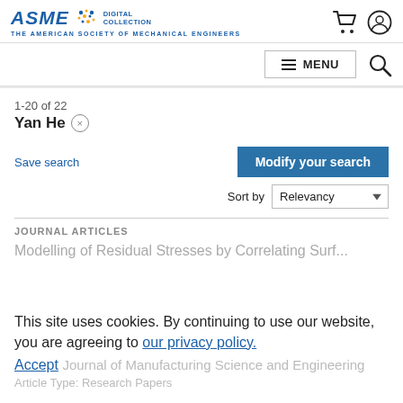ASME DIGITAL COLLECTION — THE AMERICAN SOCIETY OF MECHANICAL ENGINEERS
≡ MENU
1-20 of 22
Yan He ×
Save search
Modify your search
Sort by Relevancy
JOURNAL ARTICLES
Modelling of Residual Stresses by Correlating Surf...
This site uses cookies. By continuing to use our website, you are agreeing to our privacy policy. Accept
Journal of Manufacturing Science and Engineering
Article Type: Research Papers